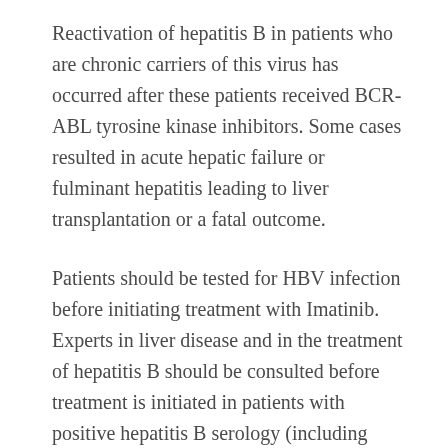Reactivation of hepatitis B in patients who are chronic carriers of this virus has occurred after these patients received BCR-ABL tyrosine kinase inhibitors. Some cases resulted in acute hepatic failure or fulminant hepatitis leading to liver transplantation or a fatal outcome.
Patients should be tested for HBV infection before initiating treatment with Imatinib. Experts in liver disease and in the treatment of hepatitis B should be consulted before treatment is initiated in patients with positive hepatitis B serology (including those with active disease) and for patients who test positive for HBV infection during treatment. Carriers of HBV who require treatment with Imatinib should be closely monitored for signs and symptoms of active HBV infection throughout therapy and for